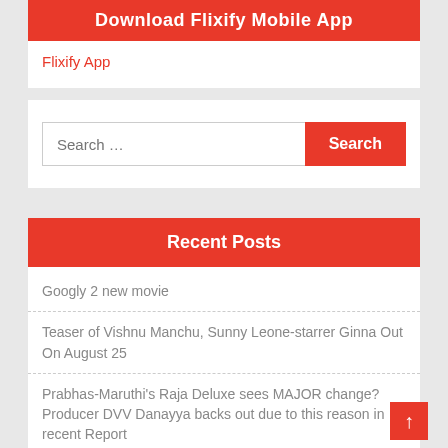Download Flixify Mobile App
Flixify App
Search ...
Recent Posts
Googly 2 new movie
Teaser of Vishnu Manchu, Sunny Leone-starrer Ginna Out On August 25
Prabhas-Maruthi's Raja Deluxe sees MAJOR change? Producer DVV Danayya backs out due to this reason in recent Report